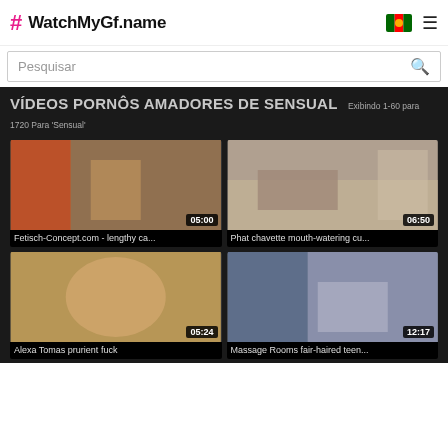WatchMyGf.name
Pesquisar
VÍDEOS PORNÔS AMADORES DE SENSUAL
Exibindo 1-60 para 1720 Para 'Sensual'
[Figure (photo): Video thumbnail - Fetisch-Concept.com - lengthy ca... duration 05:00]
[Figure (photo): Video thumbnail - Phat chavette mouth-watering cu... duration 06:50]
[Figure (photo): Video thumbnail - Alexa Tomas prurient fuck, duration 05:24]
[Figure (photo): Video thumbnail - Massage Rooms fair-haired teen... duration 12:17]